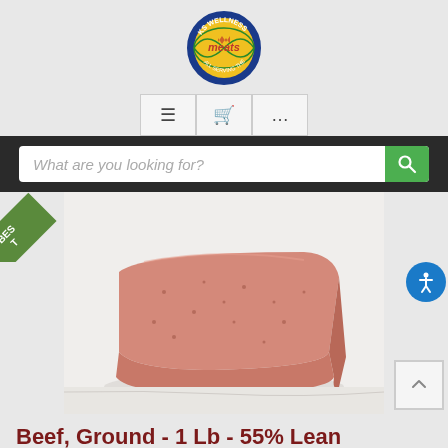[Figure (logo): KS Wellness Meats circular logo with globe and text]
[Figure (screenshot): Navigation icon bar with hamburger menu, cart icon, and ellipsis icon]
[Figure (screenshot): Search bar with placeholder text 'What are you looking for?' and green search icon]
[Figure (photo): Product photo of ground beef 1 lb package shaped as a rectangular block on white marble surface, with green 'BEST' ribbon in top left corner and blue accessibility icon button on the right]
Beef, Ground - 1 Lb - 55% Lean